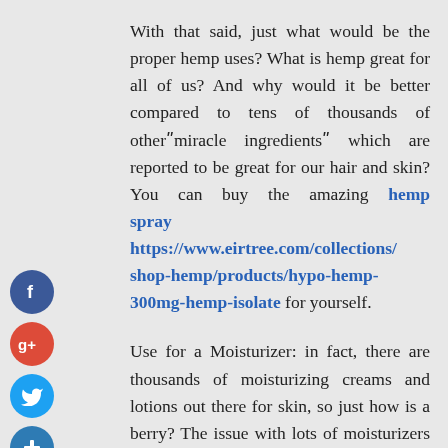With that said, just what would be the proper hemp uses? What is hemp great for all of us? And why would it be better compared to tens of thousands of other“miracle ingredients” which are reported to be great for our hair and skin? You can buy the amazing hemp spray at https://www.eirtree.com/collections/shop-hemp/products/hypo-hemp-300mg-hemp-isolate for yourself.
Use for a Moisturizer: in fact, there are thousands of moisturizing creams and lotions out there for skin, so just how is a berry? The issue with lots of moisturizers is they just“coat” skin,